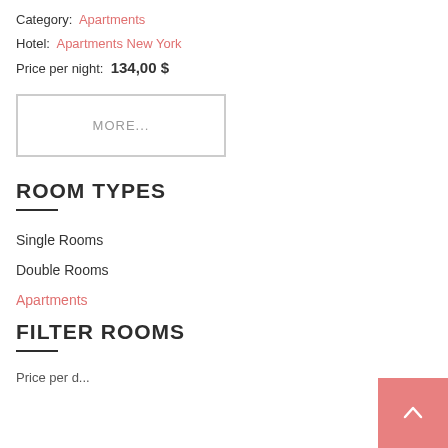Category: Apartments
Hotel: Apartments New York
Price per night: 134,00 $
MORE...
ROOM TYPES
Single Rooms
Double Rooms
Apartments
FILTER ROOMS
Price per d...